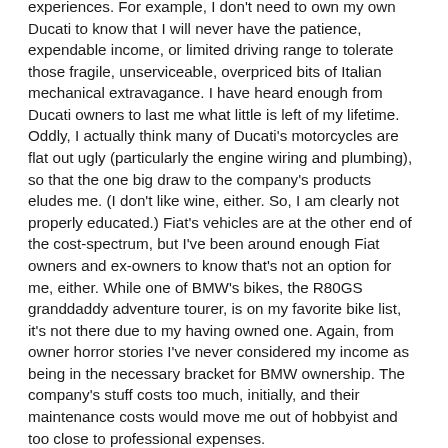experiences. For example, I don't need to own my own Ducati to know that I will never have the patience, expendable income, or limited driving range to tolerate those fragile, unserviceable, overpriced bits of Italian mechanical extravagance. I have heard enough from Ducati owners to last me what little is left of my lifetime. Oddly, I actually think many of Ducati's motorcycles are flat out ugly (particularly the engine wiring and plumbing), so that the one big draw to the company's products eludes me. (I don't like wine, either. So, I am clearly not properly educated.) Fiat's vehicles are at the other end of the cost-spectrum, but I've been around enough Fiat owners and ex-owners to know that's not an option for me, either. While one of BMW's bikes, the R80GS granddaddy adventure tourer, is on my favorite bike list, it's not there due to my having owned one. Again, from owner horror stories I've never considered my income as being in the necessary bracket for BMW ownership. The company's stuff costs too much, initially, and their maintenance costs would move me out of hobbyist and too close to professional expenses.
On my own time, I have born long-term experience-based results for MC Triumph (some short and long absence t...